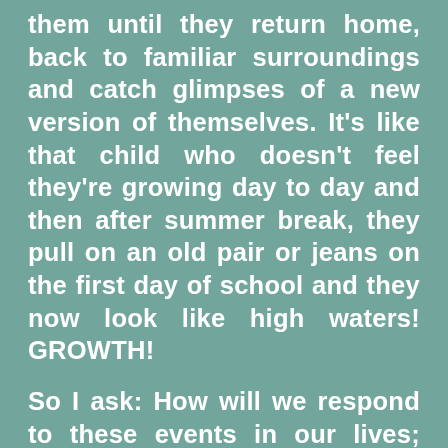them until they return home, back to familiar surroundings and catch glimpses of a new version of themselves. It's like that child who doesn't feel they're growing day to day and then after summer break, they pull on an old pair or jeans on the first day of school and they now look like high waters! GROWTH!

So I ask: How will we respond to these events in our lives; these seemingly                  insignificant